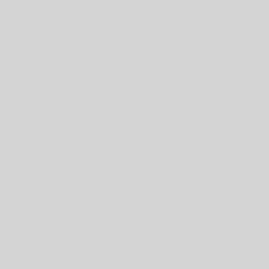Lawn Fawn, Crate Paper, Kelly S...
[Figure (photo): Product packaging photo for Adhesive Sheets 4x6 inch, showing product card with red accent and example photos]
Adhesive Sheets 4x6 inch
# 01680
Buy now
Read more
[Figure (photo): Second product packaging photo, partially visible at bottom of page]